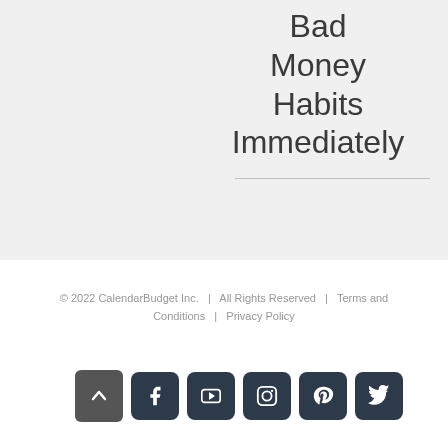Bad Money Habits Immediately
© 2022 CalendarBudget Inc. | All Rights Reserved | Terms and Conditions | Privacy Policy
[Figure (other): Social media icon buttons: scroll-to-top arrow, Facebook, YouTube, Instagram, Pinterest, Twitter]